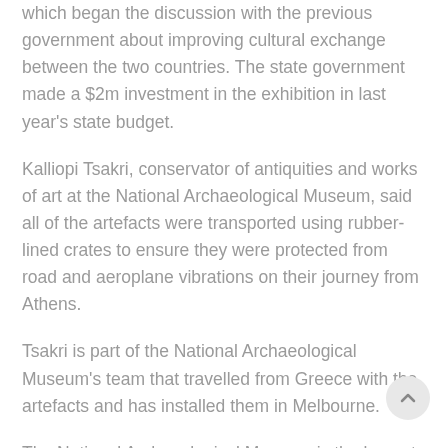which began the discussion with the previous government about improving cultural exchange between the two countries. The state government made a $2m investment in the exhibition in last year's state budget.
Kalliopi Tsakri, conservator of antiquities and works of art at the National Archaeological Museum, said all of the artefacts were transported using rubber-lined crates to ensure they were protected from road and aeroplane vibrations on their journey from Athens.
Tsakri is part of the National Archaeological Museum's team that travelled from Greece with the artefacts and has installed them in Melbourne.
The National Archaeological Museum is the largest mu… in Greece and among the most prestigious in the world.